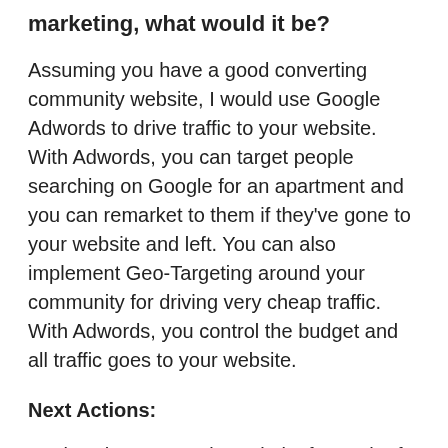marketing, what would it be?
Assuming you have a good converting community website, I would use Google Adwords to drive traffic to your website. With Adwords, you can target people searching on Google for an apartment and you can remarket to them if they've gone to your website and left. You can also implement Geo-Targeting around your community for driving very cheap traffic. With Adwords, you control the budget and all traffic goes to your website.
Next Actions:
Review the community website for each of our properties up against this list!